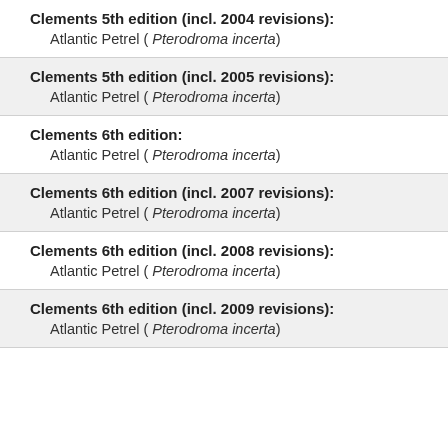Clements 5th edition (incl. 2004 revisions):
Atlantic Petrel ( Pterodroma incerta)
Clements 5th edition (incl. 2005 revisions):
Atlantic Petrel ( Pterodroma incerta)
Clements 6th edition:
Atlantic Petrel ( Pterodroma incerta)
Clements 6th edition (incl. 2007 revisions):
Atlantic Petrel ( Pterodroma incerta)
Clements 6th edition (incl. 2008 revisions):
Atlantic Petrel ( Pterodroma incerta)
Clements 6th edition (incl. 2009 revisions):
Atlantic Petrel ( Pterodroma incerta)